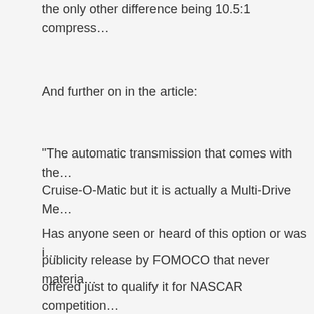the only other difference being 10.5:1 compress…
And further on in the article:
“The automatic transmission that comes with the… Cruise-O-Matic but it is actually a Multi-Drive Me…
Has anyone seen or heard of this option or was i… publicity release by FOMOCO that never materia… offered just to qualify it for NASCAR competition… TBIRD’s in 1959.
The option was available on LINC-MERC for 195…